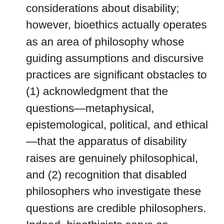considerations about disability; however, bioethics actually operates as an area of philosophy whose guiding assumptions and discursive practices are significant obstacles to (1) acknowledgment that the questions—metaphysical, epistemological, political, and ethical—that the apparatus of disability raises are genuinely philosophical, and (2) recognition that disabled philosophers who investigate these questions are credible philosophers. Indeed, bioethicists serve as gatekeepers, guarding the discipline from the incursion of critical philosophical work on disability and shielding the profession from an influx of disabled philosophers. Exceptions to this exclusion are of course admissible and even serve to legitimize both the subfield of bioethics and the discipline in general, typifying the polymorphism of the (neo)liberal governmentality from which the